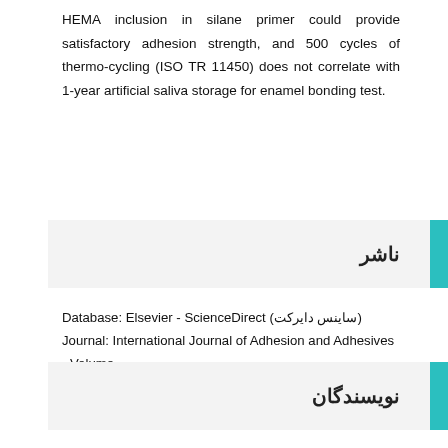HEMA inclusion in silane primer could provide satisfactory adhesion strength, and 500 cycles of thermo-cycling (ISO TR 11450) does not correlate with 1-year artificial saliva storage for enamel bonding test.
ناشر
Database: Elsevier - ScienceDirect (ساینس دایرکت)
Journal: International Journal of Adhesion and Adhesives - Volume 70, October 2016, Pages 137–141
نویسندگان
Ammar Mustafa, James K.H. Tsoi, Jukka Pekka Matinlinna,